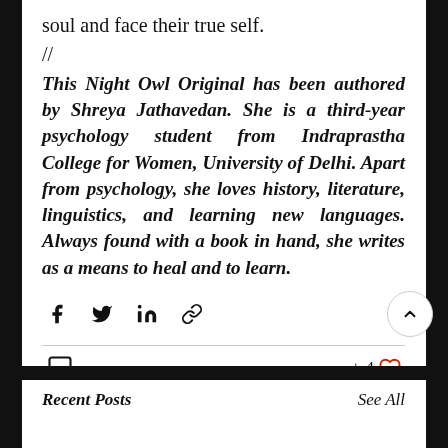soul and face their true self.
//
This Night Owl Original has been authored by Shreya Jathavedan. She is a third-year psychology student from Indraprastha College for Women, University of Delhi. Apart from psychology, she loves history, literature, linguistics, and learning new languages. Always found with a book in hand, she writes as a means to heal and to learn.
[Figure (other): Social share icons: Facebook, Twitter, LinkedIn, link/copy icon]
[Figure (other): Comment icon, like count (+4 with heart icon), scroll-up button, chat bubble button]
Recent Posts
See All